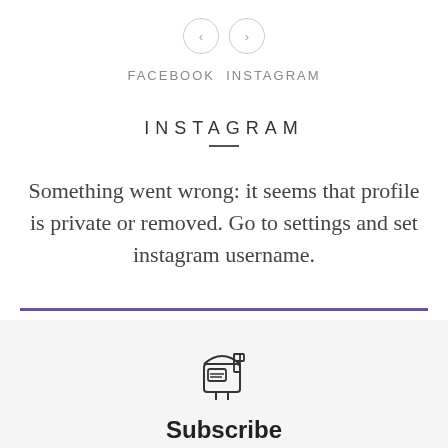[Figure (infographic): Navigation arrows: left chevron and right chevron in circular borders]
FACEBOOK  INSTAGRAM
INSTAGRAM
Something went wrong: it seems that profile is private or removed. Go to settings and set instagram username.
[Figure (illustration): Mailbox icon outline drawing]
Subscribe
Get Notified On New Posts